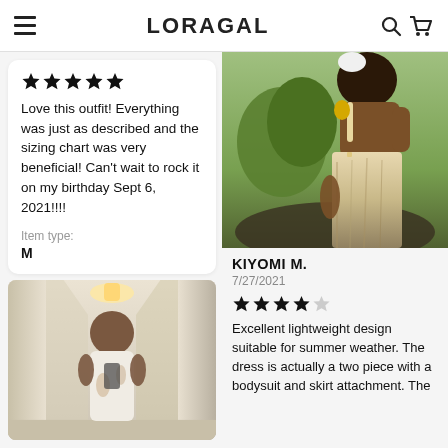LORAGAL
[Figure (other): Five filled black stars rating]
Love this outfit! Everything was just as described and the sizing chart was very beneficial! Can't wait to rock it on my birthday Sept 6, 2021!!!!
Item type:
M
[Figure (photo): Woman in floral dress taking mirror selfie in hallway]
[Figure (photo): Back view of woman wearing cream spaghetti strap dress outdoors]
KIYOMI M.
7/27/2021
[Figure (other): Four filled black stars and one empty star rating]
Excellent lightweight design suitable for summer weather. The dress is actually a two piece with a bodysuit and skirt attachment. The